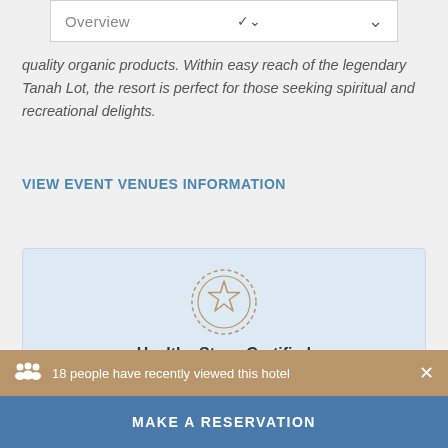Overview
quality organic products. Within easy reach of the legendary Tanah Lot, the resort is perfect for those seeking spiritual and recreational delights.
VIEW EVENT VENUES INFORMATION
[Figure (illustration): Certification badge with star emblem and circular border]
Healthy Stays Certified
To help you sleep easier, this hotel has received a performance-based
18 people have recently viewed this hotel
MAKE A RESERVATION